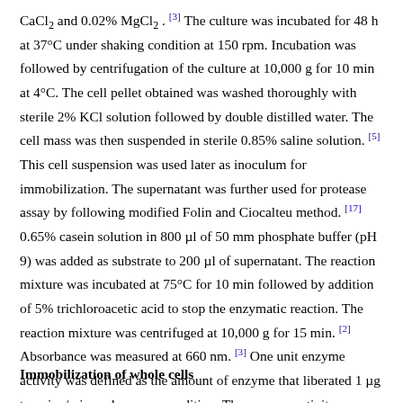CaCl₂ and 0.02% MgCl₂. [3] The culture was incubated for 48 h at 37°C under shaking condition at 150 rpm. Incubation was followed by centrifugation of the culture at 10,000 g for 10 min at 4°C. The cell pellet obtained was washed thoroughly with sterile 2% KCl solution followed by double distilled water. The cell mass was then suspended in sterile 0.85% saline solution. [5] This cell suspension was used later as inoculum for immobilization. The supernatant was further used for protease assay by following modified Folin and Ciocalteu method. [17] 0.65% casein solution in 800 µl of 50 mm phosphate buffer (pH 9) was added as substrate to 200 µl of supernatant. The reaction mixture was incubated at 75°C for 10 min followed by addition of 5% trichloroacetic acid to stop the enzymatic reaction. The reaction mixture was centrifuged at 10,000 g for 15 min. [2] Absorbance was measured at 660 nm. [3] One unit enzyme activity was defined as the amount of enzyme that liberated 1 µg tyrosine/min under assay condition. The enzyme activity was measured using tyrosine solutions as standard. [18]
Immobilization of whole cells